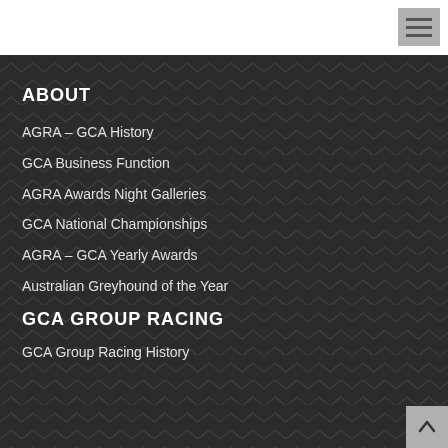[Figure (other): Hamburger menu icon button in top right corner]
ABOUT
AGRA – GCA History
GCA Business Function
AGRA Awards Night Galleries
GCA National Championships
AGRA – GCA Yearly Awards
Australian Greyhound of the Year
GCA GROUP RACING
GCA Group Racing History